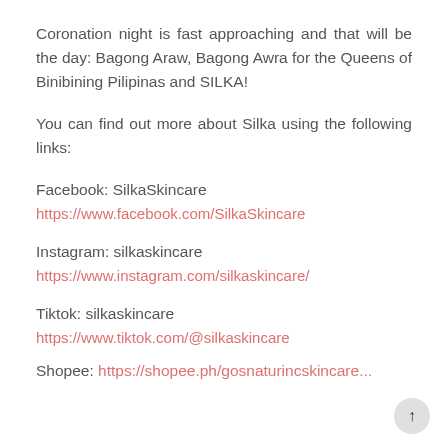Coronation night is fast approaching and that will be the day: Bagong Araw, Bagong Awra for the Queens of Binibining Pilipinas and SILKA!
You can find out more about Silka using the following links:
Facebook: SilkaSkincare
https://www.facebook.com/SilkaSkincare
Instagram: silkaskincare
https://www.instagram.com/silkaskincare/
Tiktok: silkaskincare
https://www.tiktok.com/@silkaskincare
Shopee: https://shopee.ph/gosnaturincskincare...